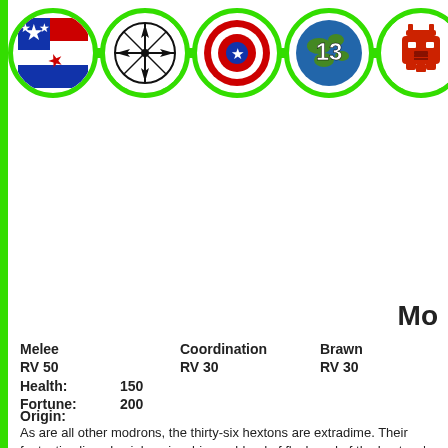[Figure (illustration): Row of five circular icon badges connected by green links. Icons: stars/flag design, compass rose, Captain America shield, globe with number 13, Transformers Autobot logo. Bordered with bright green circles.]
Mo
| Melee | Coordination | Brawn | Fortitude |
| --- | --- | --- | --- |
| RV 50 | RV 30 | RV 30 | RV 40 |
| Health: | Fortune: |
| --- | --- |
| 150 | 200 |
Origin:
As are all other modrons, the thirty-six hextons are extradime. Their fantastic alien physiology is a bizarre blend of flesh and of the hextons' many and various ascendant powers.